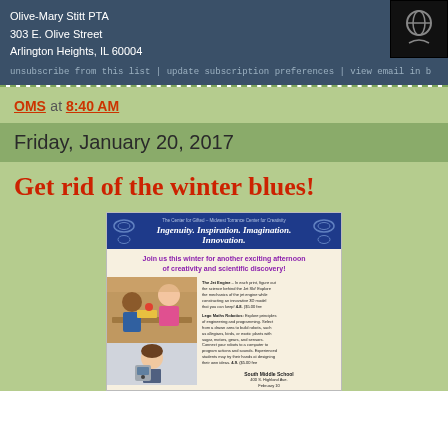Olive-Mary Stitt PTA
303 E. Olive Street
Arlington Heights, IL 60004
unsubscribe from this list | update subscription preferences | view email in b
OMS at 8:40 AM
Friday, January 20, 2017
Get rid of the winter blues!
[Figure (infographic): Flyer for The Center for Gifted - Midwest Torrance Center for Creativity with tagline 'Ingenuity. Inspiration. Imagination. Innovation.' Advertises winter afternoon of creativity and scientific discovery. Shows children doing activities. Mentions Jet Engine and Lego Maths Robotics programs. South Middle School, 400 S. Highland Ave, February 10.]